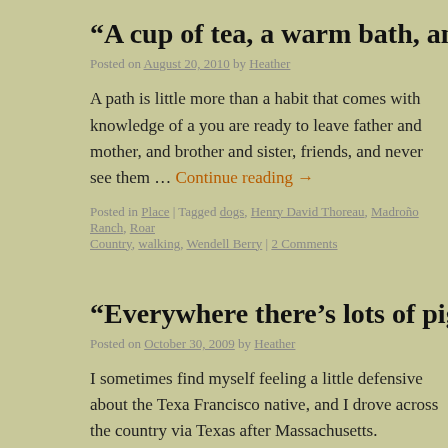“A cup of tea, a warm bath, and a brisk
Posted on August 20, 2010 by Heather
A path is little more than a habit that comes with knowledge of a you are ready to leave father and mother, and brother and sister, friends, and never see them … Continue reading →
Posted in Place | Tagged dogs, Henry David Thoreau, Madrono Ranch, Roan Country, walking, Wendell Berry | 2 Comments
“Everywhere there’s lots of piggies…”
Posted on October 30, 2009 by Heather
I sometimes find myself feeling a little defensive about the Texa Francisco native, and I drove across the country via Texas after Massachusetts. Somewhere around Bastrop, I said, “Well, we’re
Posted in Nature | Tagged dogs, feral hogs, Isa Catto Shaw, Madrono Ranch